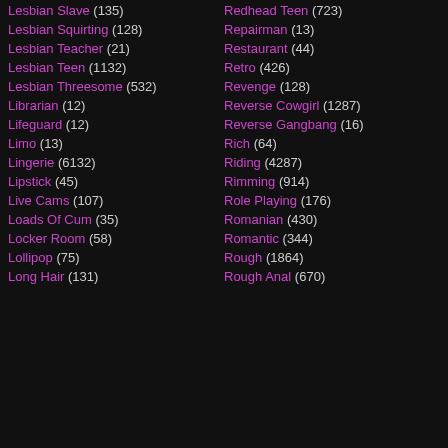Lesbian Slave (135)
Lesbian Squirting (128)
Lesbian Teacher (21)
Lesbian Teen (1132)
Lesbian Threesome (532)
Librarian (12)
Lifeguard (12)
Limo (13)
Lingerie (6132)
Lipstick (45)
Live Cams (107)
Loads Of Cum (35)
Locker Room (58)
Lollipop (75)
Long Hair (131)
Redhead Teen (723)
Repairman (13)
Restaurant (44)
Retro (426)
Revenge (128)
Reverse Cowgirl (1287)
Reverse Gangbang (16)
Rich (64)
Riding (4287)
Rimming (914)
Role Playing (176)
Romanian (430)
Romantic (344)
Rough (1864)
Rough Anal (670)